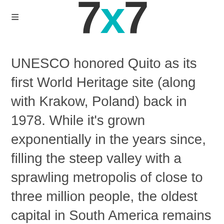7x7 (logo with hamburger menu)
UNESCO honored Quito as its first World Heritage site (along with Krakow, Poland) back in 1978. While it's grown exponentially in the years since, filling the steep valley with a sprawling metropolis of close to three million people, the oldest capital in South America remains an alluring 16th century masterpiece.
Keep reading...
[Figure (infographic): Social share buttons: Facebook, Twitter, and Plus icons in teal circles]
21 Fun Things to Do This Week (8.1...
[Figure (photo): Photo of food dishes including what appears to be a salad or mixed dish on white plates]